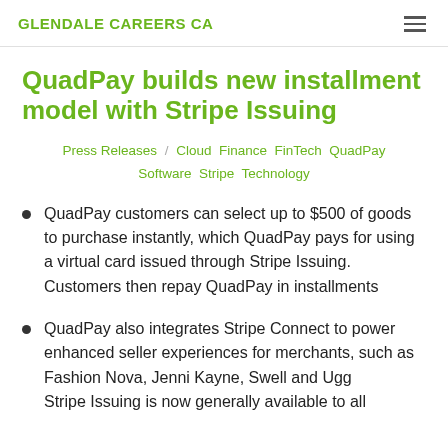GLENDALE CAREERS CA
QuadPay builds new installment model with Stripe Issuing
Press Releases / Cloud Finance FinTech QuadPay Software Stripe Technology
QuadPay customers can select up to $500 of goods to purchase instantly, which QuadPay pays for using a virtual card issued through Stripe Issuing. Customers then repay QuadPay in installments
QuadPay also integrates Stripe Connect to power enhanced seller experiences for merchants, such as Fashion Nova, Jenni Kayne, Swell and Ugg Stripe Issuing is now generally available to all